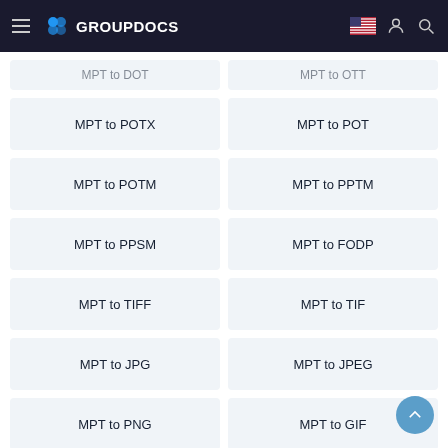GROUPDOCS
MPT to POT (partially visible)
MPT to OT (partially visible)
MPT to POTX
MPT to POT
MPT to POTM
MPT to PPTM
MPT to PPSM
MPT to FODP
MPT to TIFF
MPT to TIF
MPT to JPG
MPT to JPEG
MPT to PNG
MPT to GIF
MPT to BMP
MPT to ICO